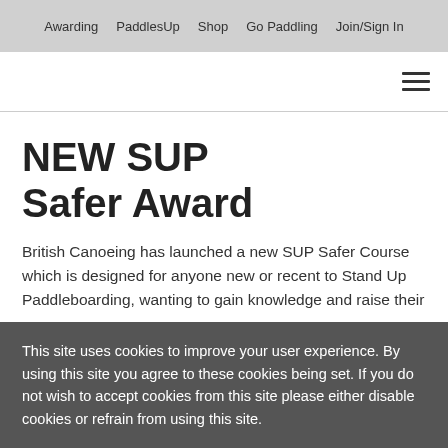Awarding   PaddlesUp   Shop   Go Paddling   Join/Sign In
NEW SUP Safer Award
British Canoeing has launched a new SUP Safer Course which is designed for anyone new or recent to Stand Up Paddleboarding, wanting to gain knowledge and raise their awareness of the dangers and safety…
This site uses cookies to improve your user experience. By using this site you agree to these cookies being set. If you do not wish to accept cookies from this site please either disable cookies or refrain from using this site.